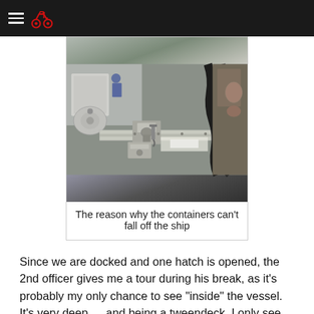[navigation header with hamburger menu and motorcycle icon]
[Figure (photo): Close-up photo of ship container lashing hardware and securing mechanisms on a vessel deck, with a worker visible in the background]
The reason why the containers can't fall off the ship
Since we are docked and one hatch is opened, the 2nd officer gives me a tour during his break, as it's probably my only chance to see “inside” the vessel. It’s very deep … and being a tweendeck, I only see halfway down! There are already 3 of the 16 granite blocks (but they look pretty white for granite) and a few containers. It’s so much steel and so many functions, a real big toy. Under the tweendeck, in the cargo hold, we have manganese, and other stuff from South